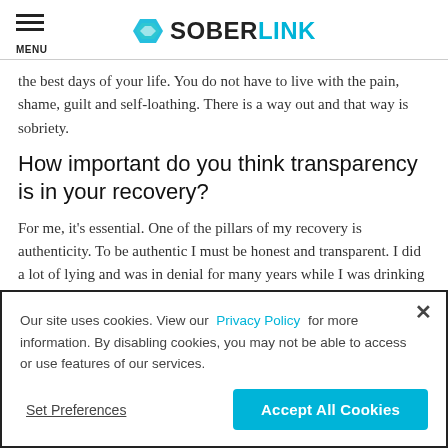MENU | SOBERLINK
the best days of your life. You do not have to live with the pain, shame, guilt and self-loathing. There is a way out and that way is sobriety.
How important do you think transparency is in your recovery?
For me, it's essential. One of the pillars of my recovery is authenticity. To be authentic I must be honest and transparent. I did a lot of lying and was in denial for many years while I was drinking and I'm grateful I don't have to
Our site uses cookies. View our Privacy Policy for more information. By disabling cookies, you may not be able to access or use features of our services.